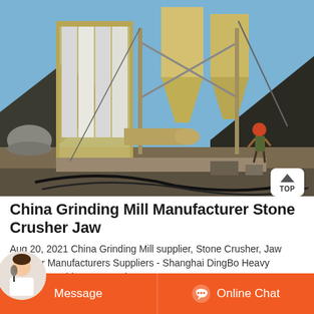[Figure (photo): Industrial grinding mill machinery with yellow silos and conical hoppers at an outdoor quarry/construction site. A worker in a red helmet is visible working near the equipment. Rocky hills in the background, hoses and equipment scattered on the ground.]
China Grinding Mill Manufacturer Stone Crusher Jaw
Aug 20, 2021 China Grinding Mill supplier, Stone Crusher, Jaw Crusher Manufacturers Suppliers - Shanghai DingBo Heavy Industry Machinery Co.,Ltd.